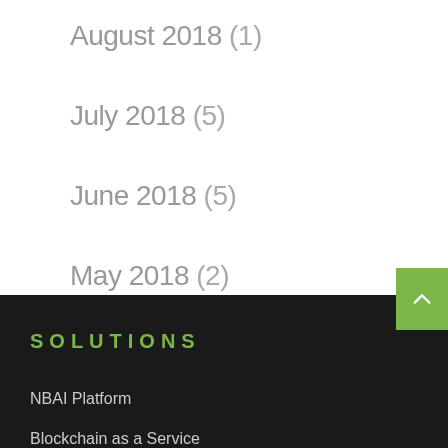August 2018 (1)
July 2018 (5)
June 2018 (5)
May 2018 (2)
SOLUTIONS
NBAI Platform
Blockchain as a Service